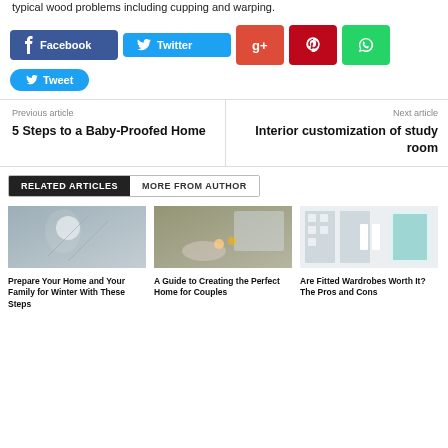typical wood problems including cupping and warping.
[Figure (infographic): Social sharing buttons: Facebook, Twitter, Google+, Pinterest, WhatsApp, and a Tweet button]
Previous article
5 Steps to a Baby-Proofed Home
Next article
Interior customization of study room
RELATED ARTICLES   MORE FROM AUTHOR
[Figure (photo): Person in snow holding icicles - winter scene]
Prepare Your Home and Your Family for Winter With These Steps
[Figure (photo): Cozy home scene with candles and warm blankets by window]
A Guide to Creating the Perfect Home for Couples
[Figure (photo): White fitted wardrobe room with teal door]
Are Fitted Wardrobes Worth It? The Pros and Cons